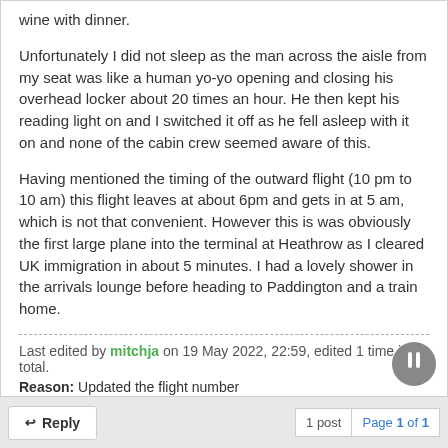wine with dinner.
Unfortunately I did not sleep as the man across the aisle from my seat was like a human yo-yo opening and closing his overhead locker about 20 times an hour. He then kept his reading light on and I switched it off as he fell asleep with it on and none of the cabin crew seemed aware of this.
Having mentioned the timing of the outward flight (10 pm to 10 am) this flight leaves at about 6pm and gets in at 5 am, which is not that convenient. However this is was obviously the first large plane into the terminal at Heathrow as I cleared UK immigration in about 5 minutes. I had a lovely shower in the arrivals lounge before heading to Paddington and a train home.
Last edited by mitchja on 19 May 2022, 22:59, edited 1 time in total. Reason: Updated the flight number
Reply | 1 post | Page 1 of 1